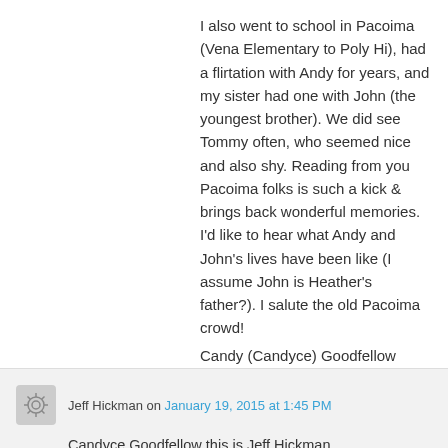I also went to school in Pacoima (Vena Elementary to Poly Hi), had a flirtation with Andy for years, and my sister had one with John (the youngest brother). We did see Tommy often, who seemed nice and also shy. Reading from you Pacoima folks is such a kick & brings back wonderful memories. I'd like to hear what Andy and John's lives have been like (I assume John is Heather's father?). I salute the old Pacoima crowd!
Candy (Candyce) Goodfellow
★ Like
Jeff Hickman on January 19, 2015 at 1:45 PM
Candyce Goodfellow this is Jeff Hickman